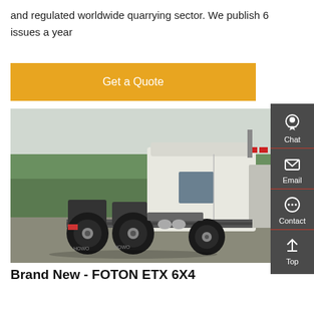and regulated worldwide quarrying sector. We publish 6 issues a year
Get a Quote
[Figure (photo): Rear-side view of a white FOTON ETX 6x4 heavy truck tractor parked on a concrete surface with trees in the background. The truck has dual rear axles with large black tires.]
[Figure (infographic): Sidebar with Chat, Email, Contact, and Top navigation icons on dark grey background]
Brand New - FOTON ETX 6X4